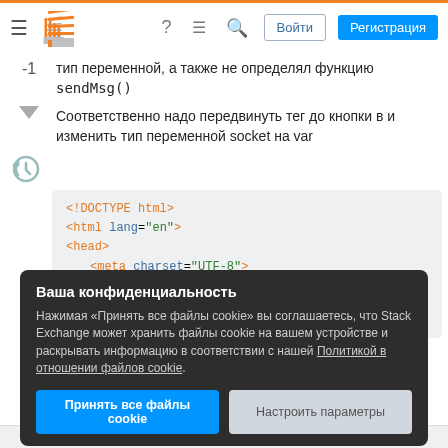[Figure (screenshot): Stack Overflow navigation bar with hamburger menu, logo, icons, login and register buttons]
тип переменной, а также не определял функцию sendMsg()
Соответственно надо передвинуть тег до кнопки в и изменить тип переменной socket на var
[Figure (screenshot): Code block showing HTML: <!DOCTYPE html>, <html lang="en">, <head>, <meta charset="UTF-8">, <meta name="viewport" content="width=de]
Ваша конфиденциальность
Нажимая «Принять все файлы cookie» вы соглашаетесь, что Stack Exchange может хранить файлы cookie на вашем устройстве и раскрывать информацию в соответствии с нашей Политикой в отношении файлов cookie.
});